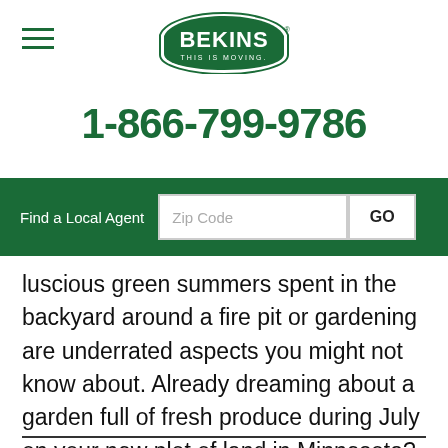[Figure (logo): Bekins logo — green shield-shaped emblem with text BEKINS and tagline THIS IS MOVING.]
1-866-799-9786
Find a Local Agent  Zip Code  GO
luscious green summers spent in the backyard around a fire pit or gardening are underrated aspects you might not know about. Already dreaming about a garden full of fresh produce during July on your new plot of land in Minnesota? Check out our backyard gardening tips.